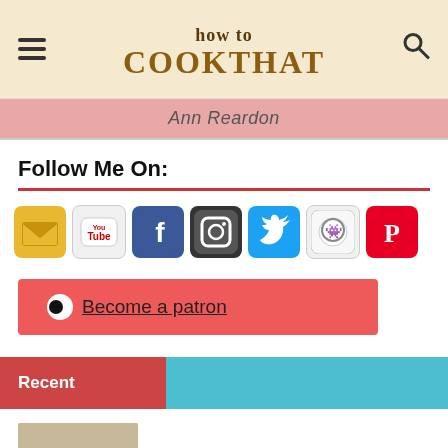how to COOKTHAT — Ann Reardon
Follow Me On:
[Figure (infographic): Row of social media icons: email, YouTube, Facebook, Instagram, Twitter, Reddit, Pinterest]
[Figure (infographic): Patreon button: circle icon with 'Become a patron' text on red/coral background]
Recent
[Figure (photo): Thumbnail photo of lemon meringue pies on a table]
Lemon Meringue Pie Recipe